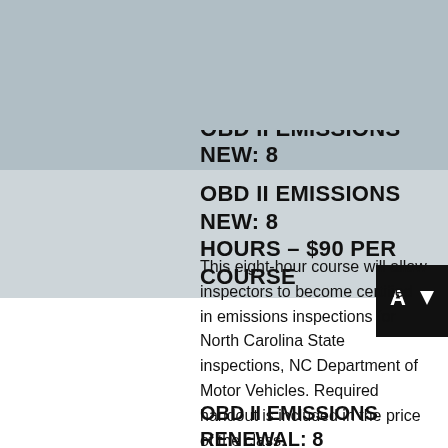the DMV. Required handout is included in the cost of the course.
[Figure (logo): Gaston College logo: circular G emblem with GASTON COLLEGE text]
Menu ≡
OBD II EMISSIONS NEW: 8 HOURS – $90 PER COURSE
OBD II EMISSIONS NEW: 8 HOURS – $90 PER COURSE
This eight-hour course will allow inspectors to become certified in emissions inspections for North Carolina State inspections, NC Department of Motor Vehicles. Required handout is included in the price of the class.
OBD II EMISSIONS RENEWAL: 8 HOURS – $90 PER COURSE
This eight-hour class will satisfy the renewal of a North Carolina emissions inspection license required by NC Department of Motor Vehicles.